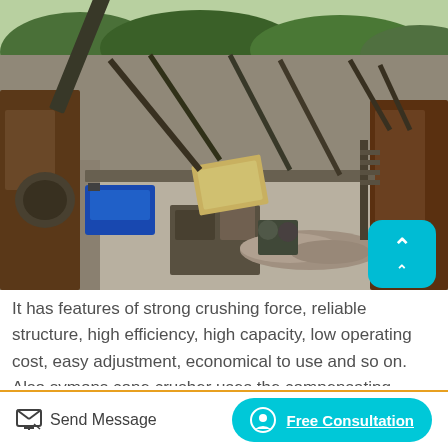[Figure (photo): Aerial/ground-level view of an industrial stone crushing plant with conveyor belts, machinery, motors, and gravel, set against a forested hillside background]
It has features of strong crushing force, reliable structure, high efficiency, high capacity, low operating cost, easy adjustment, economical to use and so on. Also symons cone crusher uses the compensating lubricating grease sealing, it can avoid lubrication oil being polluted by dust
Send Message   Free Consultation